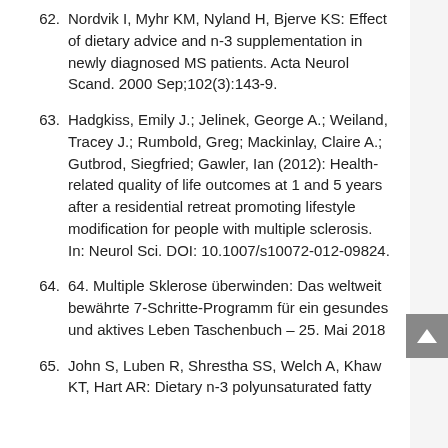62. Nordvik I, Myhr KM, Nyland H, Bjerve KS: Effect of dietary advice and n-3 supplementation in newly diagnosed MS patients. Acta Neurol Scand. 2000 Sep;102(3):143-9.
63. Hadgkiss, Emily J.; Jelinek, George A.; Weiland, Tracey J.; Rumbold, Greg; Mackinlay, Claire A.; Gutbrod, Siegfried; Gawler, Ian (2012): Health-related quality of life outcomes at 1 and 5 years after a residential retreat promoting lifestyle modification for people with multiple sclerosis. In: Neurol Sci. DOI: 10.1007/s10072-012-09824.
64. 64. Multiple Sklerose überwinden: Das weltweit bewährte 7-Schritte-Programm für ein gesundes und aktives Leben Taschenbuch – 25. Mai 2018
65. John S, Luben R, Shrestha SS, Welch A, Khaw KT, Hart AR: Dietary n-3 polyunsaturated fatty